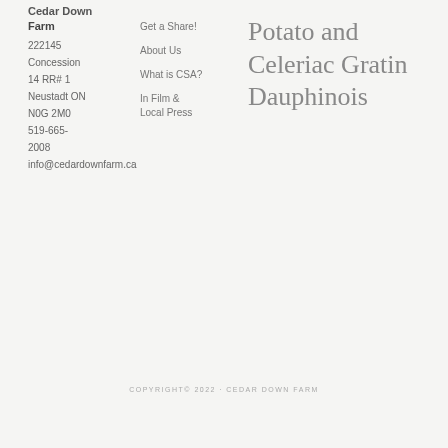Cedar Down
Farm
222145 Concession 14 RR# 1 Neustadt ON N0G 2M0 519-665-2008 info@cedardownfarm.ca
Get a Share!
About Us
What is CSA?
In Film & Local Press
Potato and Celeriac Gratin Dauphinois
COPYRIGHT© 2022 · CEDAR DOWN FARM